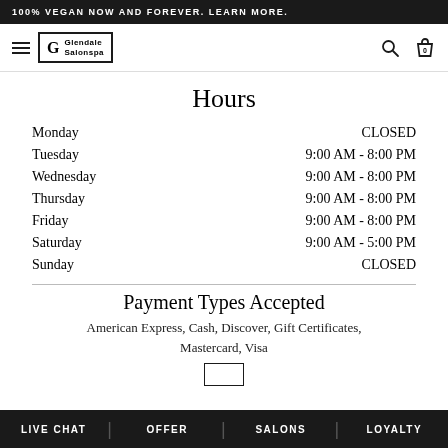100% VEGAN NOW AND FOREVER. LEARN MORE.
[Figure (logo): Glendale Salonspa logo with hamburger menu, search and bag icons]
Hours
| Day | Hours |
| --- | --- |
| Monday | CLOSED |
| Tuesday | 9:00 AM - 8:00 PM |
| Wednesday | 9:00 AM - 8:00 PM |
| Thursday | 9:00 AM - 8:00 PM |
| Friday | 9:00 AM - 8:00 PM |
| Saturday | 9:00 AM - 5:00 PM |
| Sunday | CLOSED |
Payment Types Accepted
American Express, Cash, Discover, Gift Certificates, Mastercard, Visa
LIVE CHAT | OFFER | SALONS | LOYALTY